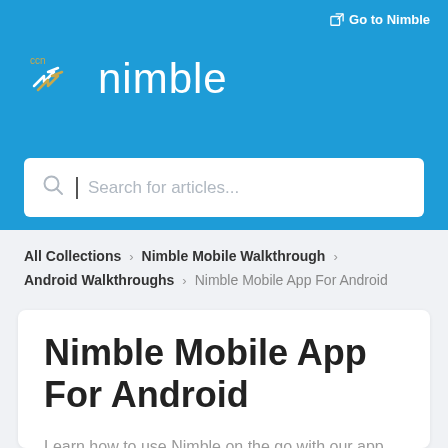Go to Nimble
[Figure (logo): Nimble logo with snowflake/star icon and text 'nimble' in white on blue background]
Search for articles...
All Collections > Nimble Mobile Walkthrough > Android Walkthroughs > Nimble Mobile App For Android
Nimble Mobile App For Android
Learn how to use Nimble on the go with our app for Android.